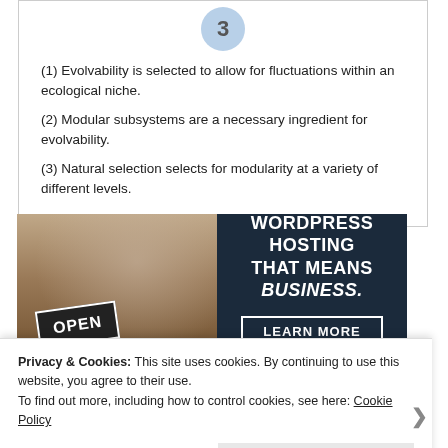[Figure (other): Blue circle with number 3 indicating step 3 in a diagram]
(1) Evolvability is selected to allow for fluctuations within an ecological niche.
(2) Modular subsystems are a necessary ingredient for evolvability.
(3) Natural selection selects for modularity at a variety of different levels.
[Figure (photo): Advertisement showing a person holding an OPEN sign with text: WORDPRESS HOSTING THAT MEANS BUSINESS. and a LEARN MORE button]
Privacy & Cookies: This site uses cookies. By continuing to use this website, you agree to their use.
To find out more, including how to control cookies, see here: Cookie Policy
Close and accept